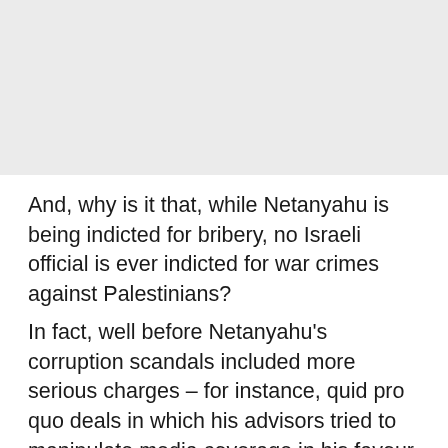[Figure (photo): Gray placeholder image area at the top of the page]
And, why is it that, while Netanyahu is being indicted for bribery, no Israeli official is ever indicted for war crimes against Palestinians?
In fact, well before Netanyahu’s corruption scandals included more serious charges – for instance, quid pro quo deals in which his advisors tried to manipulate media coverage in his favour and offering high political positions in exchange for favours – it included